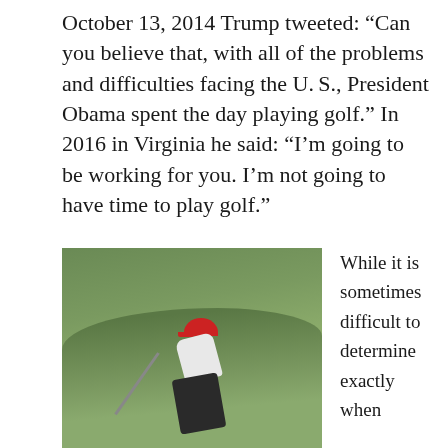October 13, 2014 Trump tweeted: “Can you believe that, with all of the problems and difficulties facing the U. S., President Obama spent the day playing golf.” In 2016 in Virginia he said: “I’m going to be working for you. I’m not going to have time to play golf.”
[Figure (photo): A person wearing a red cap and white shirt bending over on a grassy hillside, holding a golf club, appearing to play golf on a steep green slope.]
While it is sometimes difficult to determine exactly when